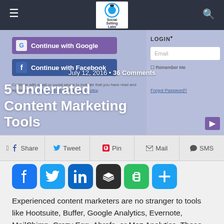Social Selling Labs
[Figure (screenshot): Hero image showing a social login overlay with Google and Facebook continue buttons, a login panel with email field and forgot password link, overlaid on a blurred background]
July 12, 2016 • 36 Comments
5 Underrated Content Marketing Tools
[Figure (infographic): Share bar with Share, Tweet, Pin, Mail, SMS buttons]
[Figure (infographic): Social sharing icons row: Facebook, Twitter, LinkedIn, Buffer, Evernote, and a plus/more button]
Experienced content marketers are no stranger to tools like Hootsuite, Buffer, Google Analytics, Evernote, MailChimp, Crazy Egg, Ahrefs, or Moz Analytics. These are just some of the most commonly mentioned tools that should be included in the arsenal